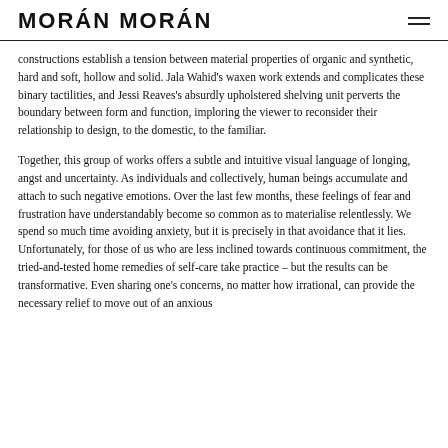MORÁN MORÁN
constructions establish a tension between material properties of organic and synthetic, hard and soft, hollow and solid. Jala Wahid's waxen work extends and complicates these binary tactilities, and Jessi Reaves's absurdly upholstered shelving unit perverts the boundary between form and function, imploring the viewer to reconsider their relationship to design, to the domestic, to the familiar.
Together, this group of works offers a subtle and intuitive visual language of longing, angst and uncertainty. As individuals and collectively, human beings accumulate and attach to such negative emotions. Over the last few months, these feelings of fear and frustration have understandably become so common as to materialise relentlessly. We spend so much time avoiding anxiety, but it is precisely in that avoidance that it lies. Unfortunately, for those of us who are less inclined towards continuous commitment, the tried-and-tested home remedies of self-care take practice – but the results can be transformative. Even sharing one's concerns, no matter how irrational, can provide the necessary relief to move out of an anxious